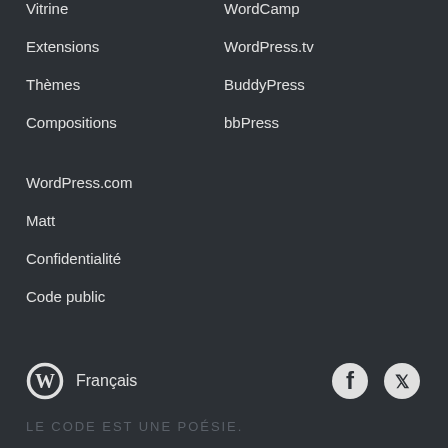Vitrine
WordCamp
Extensions
WordPress.tv
Thèmes
BuddyPress
Compositions
bbPress
WordPress.com
Matt
Confidentialité
Code public
Français
LE CODE EST UNE POÉSIE.